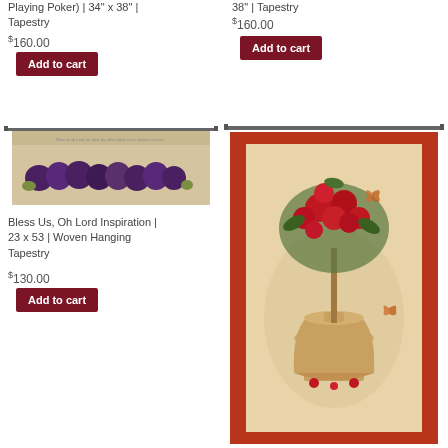Playing Poker) | 34" x 38" | Tapestry
$160.00
Add to cart
38" | Tapestry
$160.00
Add to cart
[Figure (photo): Horizontal tapestry showing a row of dark plums/fruit on a beige background with text inscription above]
Bless Us, Oh Lord Inspiration | 23 x 53 | Woven Hanging Tapestry
$130.00
Add to cart
[Figure (photo): Vertical tapestry with red/cream diamond border showing a floral topiary arrangement in an ornate urn with roses and butterflies]